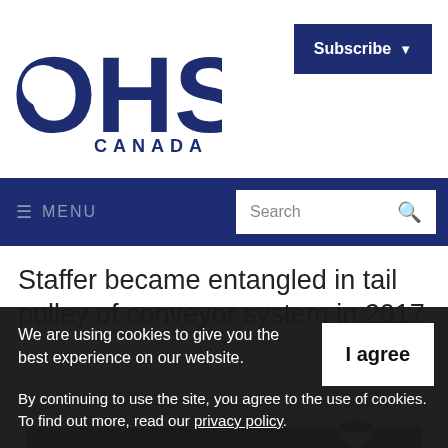OHS Canada
Subscribe
MENU | Search
Staffer became entangled in tail pulley of conveyor system in 2017
[Figure (photo): Industrial conveyor system or machinery against a blue sky, with a green belt and metal cone-shaped component visible.]
We are using cookies to give you the best experience on our website.
By continuing to use the site, you agree to the use of cookies. To find out more, read our privacy policy.